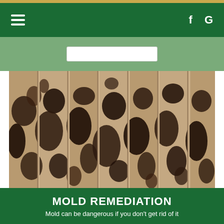Navigation bar with hamburger menu, Facebook (f) and Google (G) icons
[Figure (screenshot): Search bar area on green background]
[Figure (photo): Close-up photo of wood panels heavily covered in black and brown mold]
MOLD REMEDIATION
Mold can be dangerous if you don't get rid of it